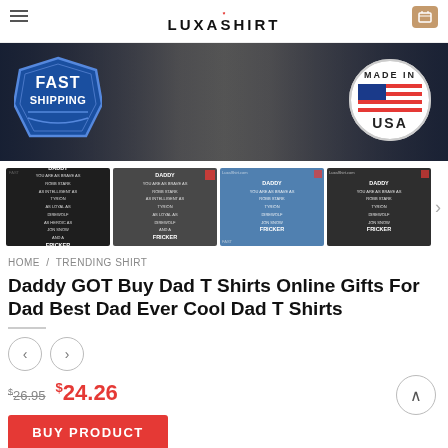LUXASHIRT
[Figure (photo): Promotional banner with Fast Shipping badge on left and Made in USA badge on right, with a model wearing jeans in the center background]
[Figure (photo): Row of four product thumbnail images showing a black t-shirt, gray t-shirt, blue tank top, and dark long-sleeve shirt, all with 'DADDY' Game of Thrones themed text]
HOME / TRENDING SHIRT
Daddy GOT Buy Dad T Shirts Online Gifts For Dad Best Dad Ever Cool Dad T Shirts
$ 26.95  $ 24.26
BUY PRODUCT